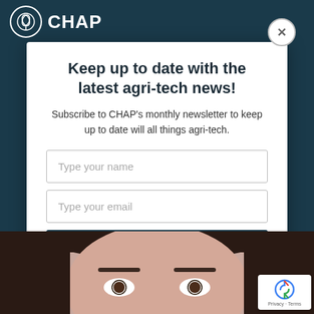[Figure (screenshot): CHAP website navigation bar with logo (circular leaf/wheat icon) and CHAP text on dark teal background]
Keep up to date with the latest agri-tech news!
Subscribe to CHAP's monthly newsletter to keep up to date will all things agri-tech.
Type your name
Type your email
Subscribe
[Figure (photo): Close-up photo of a woman's face from forehead to eyes, dark hair, light skin, looking forward]